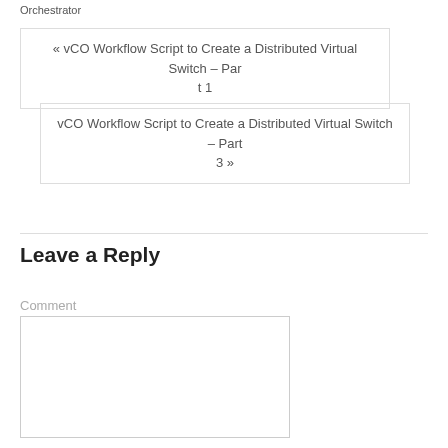Orchestrator
« vCO Workflow Script to Create a Distributed Virtual Switch – Part 1
vCO Workflow Script to Create a Distributed Virtual Switch – Part 3 »
Leave a Reply
Comment